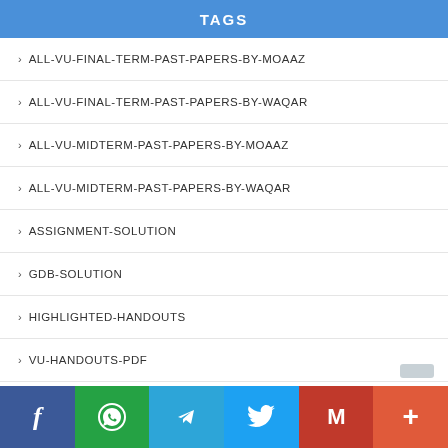TAGS
ALL-VU-FINAL-TERM-PAST-PAPERS-BY-MOAAZ
ALL-VU-FINAL-TERM-PAST-PAPERS-BY-WAQAR
ALL-VU-MIDTERM-PAST-PAPERS-BY-MOAAZ
ALL-VU-MIDTERM-PAST-PAPERS-BY-WAQAR
ASSIGNMENT-SOLUTION
GDB-SOLUTION
HIGHLIGHTED-HANDOUTS
VU-HANDOUTS-PDF
VU-MIDTERM-PAST-PAPER-BY-MOAAZ
VU-MIDTERM-PAST-PAPERS-BY-WAQAR
VU-QUIZ-1-SOLUTION